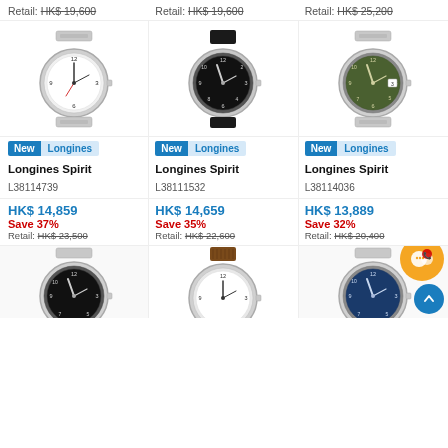Retail: HK$ 19,600
Retail: HK$ 19,600
Retail: HK$ 25,200
[Figure (photo): Longines Spirit watch with white dial and steel bracelet]
[Figure (photo): Longines Spirit watch with black dial and black fabric strap]
[Figure (photo): Longines Spirit watch with green dial and steel bracelet]
New  Longines
New  Longines
New  Longines
Longines Spirit
L38114739
Longines Spirit
L38111532
Longines Spirit
L38114036
HK$ 14,859
Save 37%
Retail: HK$ 23,500
HK$ 14,659
Save 35%
Retail: HK$ 22,600
HK$ 13,889
Save 32%
Retail: HK$ 20,400
[Figure (photo): Longines Spirit watch with black dial and steel bracelet (partial)]
[Figure (photo): Longines Spirit watch with white dial and brown leather strap (partial)]
[Figure (photo): Longines Spirit watch with blue dial and steel bracelet (partial)]